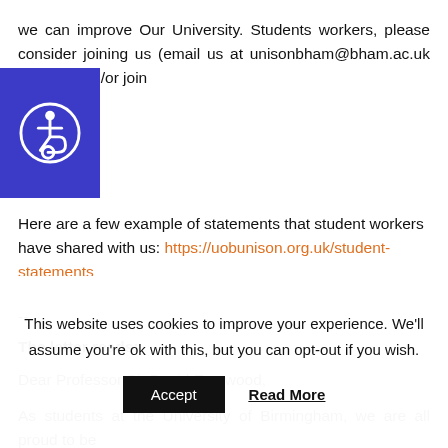we can improve Our University. Students workers, please consider joining us (email us at unisonbham@bham.ac.uk for info) and/or join
[Figure (illustration): Blue square accessibility icon with white wheelchair accessible person symbol]
Here are a few example of statements that student workers have shared with us: https://uobunison.org.uk/student-statements
--
The letter reads:
Dear Professor Sir David Eastwood,
As students at the University of Birmingham, we are all proud to be part of an institution with such a world class reputation for teaching
This website uses cookies to improve your experience. We'll assume you're ok with this, but you can opt-out if you wish.
Accept   Read More